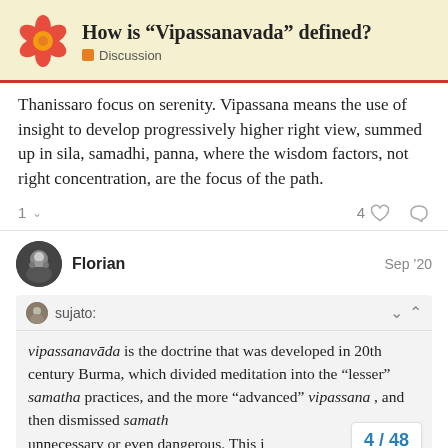How is “Vipassanavada” defined? Discussion
Thanissaro focus on serenity. Vipassana means the use of insight to develop progressively higher right view, summed up in sila, samadhi, panna, where the wisdom factors, not right concentration, are the focus of the path.
1  ∨    4 ♡ 🔗
Florian  Sep ’20
sujato:
vipassanavāda is the doctrine that was developed in 20th century Burma, which divided meditation into the “lesser” samatha practices, and the more “advanced” vipassana , and then dismissed samath unnecessary or even dangerous. This i
4 / 48